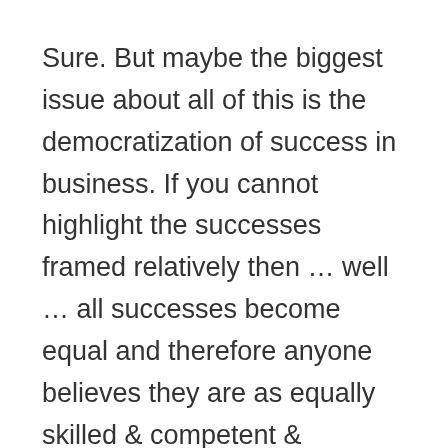Sure. But maybe the biggest issue about all of this is the democratization of success in business. If you cannot highlight the successes framed relatively then … well … all successes become equal and therefore anyone believes they are as equally skilled & competent & valuable as everyone else.
That, my friends, is a problem in any organization of any significant size.
Do I believe in hierarchy? Well. Yes and